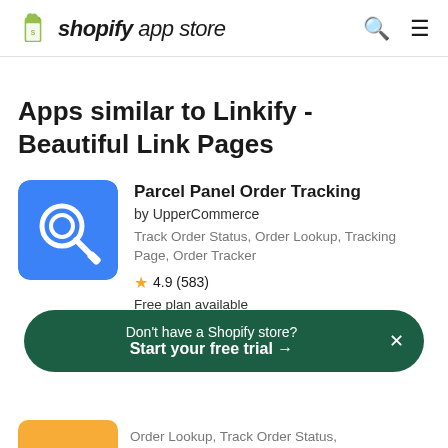shopify app store
Apps similar to Linkify - Beautiful Link Pages
Parcel Panel Order Tracking
by UpperCommerce
Track Order Status, Order Lookup, Tracking Page, Order Tracker
4.9 (583)
Free plan available
Don't have a Shopify store? Start your free trial →
Order Lookup, Track Order Status,